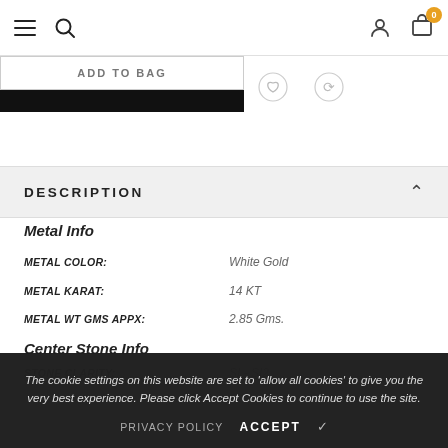Navigation bar with hamburger menu, search, user account, and cart (0) icons
[Figure (screenshot): Add to Bag button and black bar below it, with wishlist and share icons to the right]
DESCRIPTION
Metal Info
METAL COLOR: White Gold
METAL KARAT: 14 KT
METAL WT GMS APPX: 2.85 Gms.
Center Stone Info
STONE CLARITY: (dimmed)
STONE COLOR: G - H
STONE CT MM SIZE APPX: 0.45 ct
STONE SHAPE: Octagon (Emerald)
The cookie settings on this website are set to 'allow all cookies' to give you the very best experience. Please click Accept Cookies to continue to use the site.
PRIVACY POLICY   ACCEPT ✓